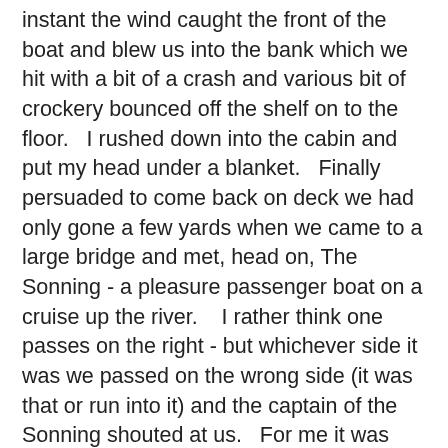instant the wind caught the front of the boat and blew us into the bank which we hit with a bit of a crash and various bit of crockery bounced off the shelf on to the floor.   I rushed down into the cabin and put my head under a blanket.   Finally persuaded to come back on deck we had only gone a few yards when we came to a large bridge and met, head on, The Sonning - a pleasure passenger boat on a cruise up the river.   I rather think one passes on the right - but whichever side it was we passed on the wrong side (it was that or run into it) and the captain of the Sonning shouted at us.   For me it was head under blanket time again.   My husband tied up and came down into the cabin and gave me a good talking to - it was either get some sense into my head or we would go back and hand the boat in.   My son of course was indignant.   So I braved it out, but was always nervous.  My husband and my son (he fell into the Thames between the boat and the land) absolutely loved it.  Me?   Not so keen.